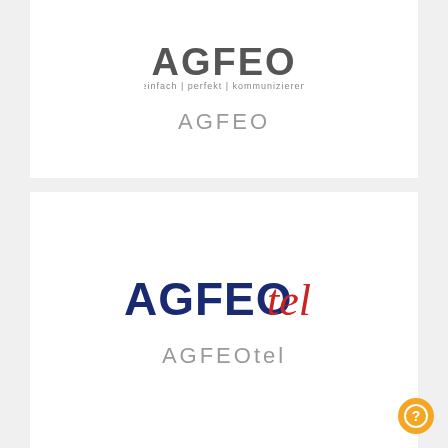[Figure (logo): AGFEO logo with text 'einfach | perfekt | kommunizieren' below]
AGFEO
[Figure (logo): AGFEOtel logo with AGFEO in dark blue and tel in red italic]
AGFEOtel